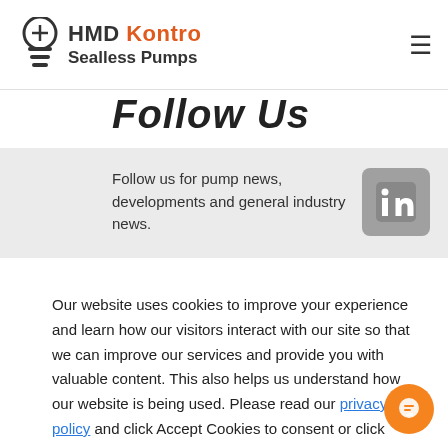HMD Kontro Sealless Pumps
Follow Us
Follow us for pump news, developments and general industry news.
[Figure (logo): LinkedIn icon button]
Our website uses cookies to improve your experience and learn how our visitors interact with our site so that we can improve our services and provide you with valuable content. This also helps us understand how our website is being used. Please read our privacy policy and click Accept Cookies to consent or click Disable Cookies to continue.
Accept Cookies